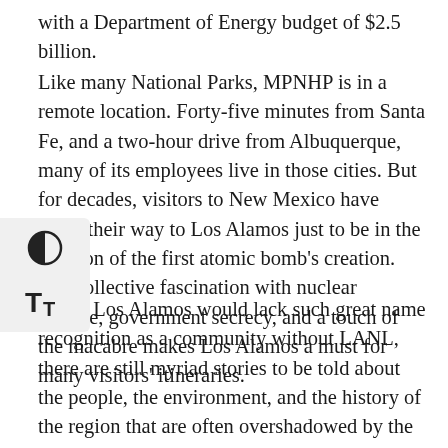with a Department of Energy budget of $2.5 billion.
Like many National Parks, MPNHP is in a remote location. Forty-five minutes from Santa Fe, and a two-hour drive from Albuquerque, many of its employees live in those cities. But for decades, visitors to New Mexico have made their way to Los Alamos just to be in the location of the first atomic bomb's creation. Our collective fascination with nuclear science, government secrecy, and a touch of the macabre makes Los Alamos a must for many visitors' itineraries.
While Los Alamos would lack such great name recognition as a community without LANL, there are still myriad stories to be told about the people, the environment, and the history of the region that are often overshadowed by the more recent and dramatic